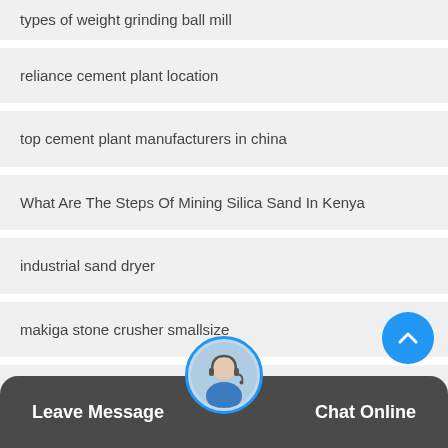types of weight grinding ball mill
reliance cement plant location
top cement plant manufacturers in china
What Are The Steps Of Mining Silica Sand In Kenya
industrial sand dryer
makiga stone crusher smallsize
high quality stone vibrating screen indonesia
hammer crusher capacity
Leave Message   Chat Online